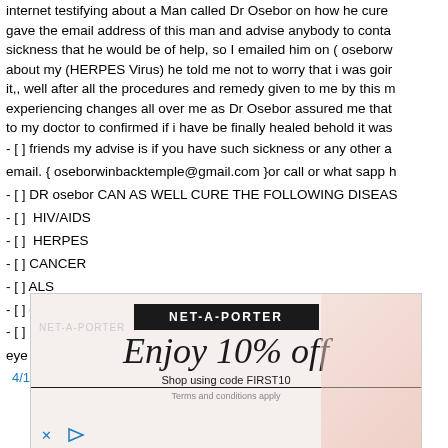internet testifying about a Man called Dr Osebor on how he cured gave the email address of this man and advise anybody to conta sickness that he would be of help, so I emailed him on ( oseborw about my (HERPES Virus) he told me not to worry that i was goir it,, well after all the procedures and remedy given to me by this m experiencing changes all over me as Dr Osebor assured me that to my doctor to confirmed if i have be finally healed behold it was
- [ ] friends my advise is if you have such sickness or any other a email. { oseborwinbacktemple@gmail.com }or call or what sapp h
- [ ] DR osebor CAN AS WELL CURE THE FOLLOWING DISEAS
- []  HIV/AIDS
- []  HERPES
- [] CANCER
- [] ALS
- [] cancer
- [] Diabetes
eye problem etc.
4/15/2021 11:18 AM
[Figure (advertisement): NET-A-PORTER advertisement with black header logo, italic text 'Enjoy 10% off' and subtext 'Shop using code FIRST10', pink decorative background on right, Terms and conditions apply at bottom.]